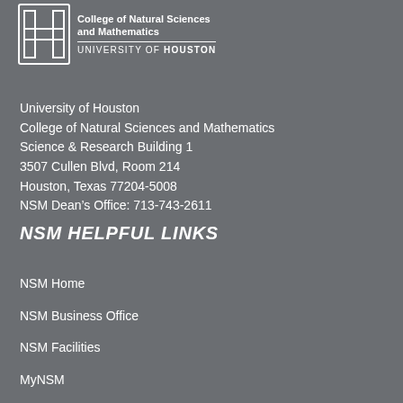[Figure (logo): University of Houston College of Natural Sciences and Mathematics logo with UH athletic H mark and text]
University of Houston
College of Natural Sciences and Mathematics
Science & Research Building 1
3507 Cullen Blvd, Room 214
Houston, Texas 77204-5008
NSM Dean’s Office: 713-743-2611
NSM HELPFUL LINKS
NSM Home
NSM Business Office
NSM Facilities
MyNSM
Resources for Students